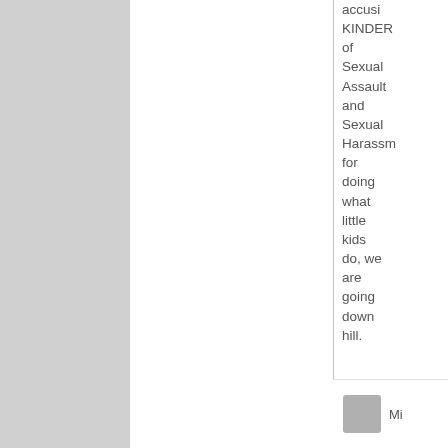accusing KINDER of Sexual Assault and Sexual Harassment for doing what little kids do, we are going downhill. Hint: It is already happen